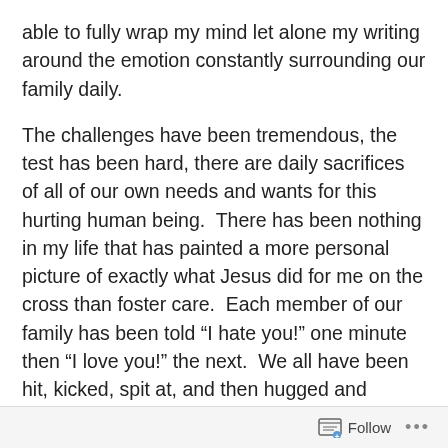able to fully wrap my mind let alone my writing around the emotion constantly surrounding our family daily.
The challenges have been tremendous, the test has been hard, there are daily sacrifices of all of our own needs and wants for this hurting human being.  There has been nothing in my life that has painted a more personal picture of exactly what Jesus did for me on the cross than foster care.  Each member of our family has been told “I hate you!” one minute then “I love you!” the next.  We all have been hit, kicked, spit at, and then hugged and kissed.    The complaints, demands, lack of gratitude, and harsh words are exhausting to hear even when you know it is out of pure fear and pain from the past. There really can be no comparison to Jesus and
Follow ...